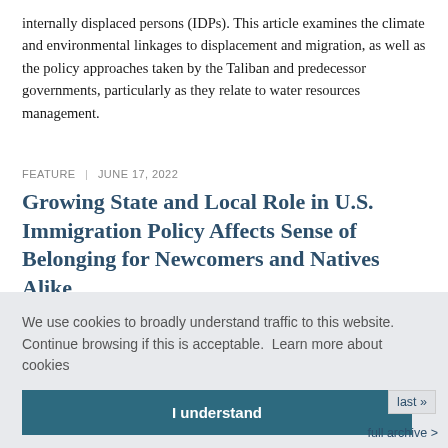internally displaced persons (IDPs). This article examines the climate and environmental linkages to displacement and migration, as well as the policy approaches taken by the Taliban and predecessor governments, particularly as they relate to water resources management.
FEATURE | JUNE 17, 2022
Growing State and Local Role in U.S. Immigration Policy Affects Sense of Belonging for Newcomers and Natives Alike
s can U.S. born, and sures has vider-
We use cookies to broadly understand traffic to this website. Continue browsing if this is acceptable.  Learn more about cookies
I understand
last »
full archive >